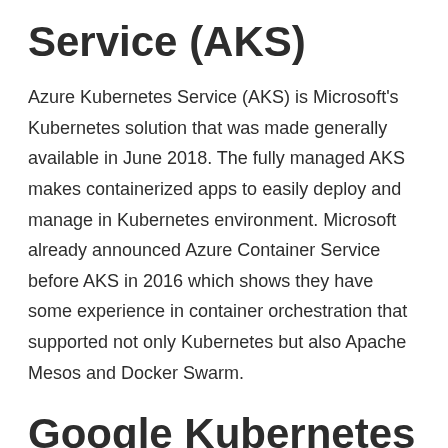Service (AKS)
Azure Kubernetes Service (AKS) is Microsoft's Kubernetes solution that was made generally available in June 2018. The fully managed AKS makes containerized apps to easily deploy and manage in Kubernetes environment. Microsoft already announced Azure Container Service before AKS in 2016 which shows they have some experience in container orchestration that supported not only Kubernetes but also Apache Mesos and Docker Swarm.
Google Kubernetes Engine (GKE)
Kubernetes was first introduced by Google in July 2015 in the market. Google Kubernetes Engine (GKE) is a